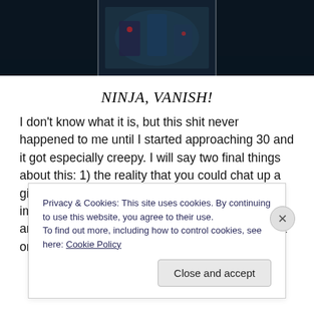[Figure (photo): Dark screenshot or photo with blue/green tones, partially visible at top of page]
NINJA, VANISH!
I don't know what it is, but this shit never happened to me until I started approaching 30 and it got especially creepy. I will say two final things about this: 1) the reality that you could chat up a girl who is criminally underage creates an imperative that you approach women respectfully and perhaps not be too forward at the outset. Not only is it
Privacy & Cookies: This site uses cookies. By continuing to use this website, you agree to their use.
To find out more, including how to control cookies, see here: Cookie Policy
Close and accept